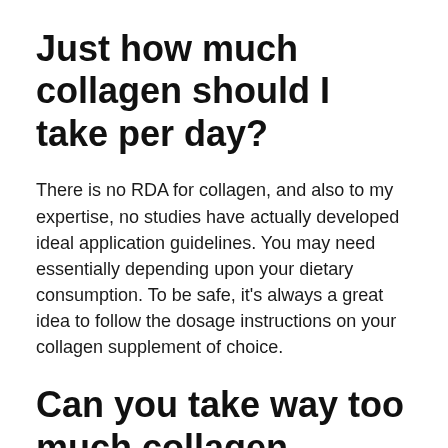Just how much collagen should I take per day?
There is no RDA for collagen, and also to my expertise, no studies have actually developed ideal application guidelines. You may need essentially depending upon your dietary consumption. To be safe, it’s always a great idea to follow the dosage instructions on your collagen supplement of choice.
Can you take way too much collagen peptides?
Lots of points in nature comply with a J-shaped contour– excessive or inadequate are